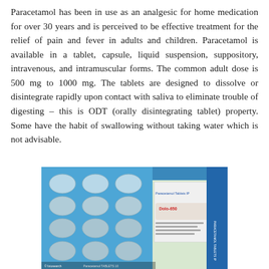Paracetamol has been in use as an analgesic for home medication for over 30 years and is perceived to be effective treatment for the relief of pain and fever in adults and children. Paracetamol is available in a tablet, capsule, liquid suspension, suppository, intravenous, and intramuscular forms. The common adult dose is 500 mg to 1000 mg. The tablets are designed to dissolve or disintegrate rapidly upon contact with saliva to eliminate trouble of digesting – this is ODT (orally disintegrating tablet) property. Some have the habit of swallowing without taking water which is not advisable.
[Figure (photo): Photo of a blister pack of Paracetamol tablets (Dolo-650) with blue packaging showing multiple oval white tablets, alongside the medicine box/packaging with text 'Paracetamol Tablets IP' and 'Dolo-650' branding.]